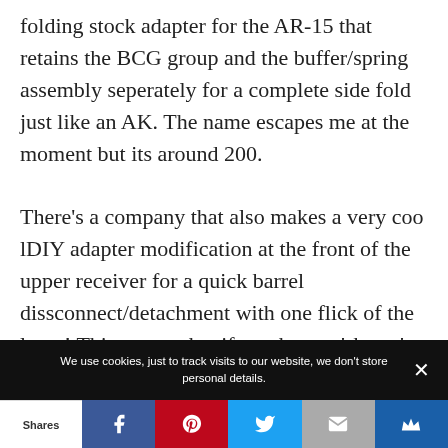folding stock adapter for the AR-15 that retains the BCG group and the buffer/spring assembly seperately for a complete side fold just like an AK. The name escapes me at the moment but its around 200. There’s a company that also makes a very coo lDIY adapter modification at the front of the upper receiver for a quick barrel dissconnect/detachment with one flick of the lever! This means that if you have a ‘shorty’ lightweight AR carbine
We use cookies, just to track visits to our website, we don’t store personal details.